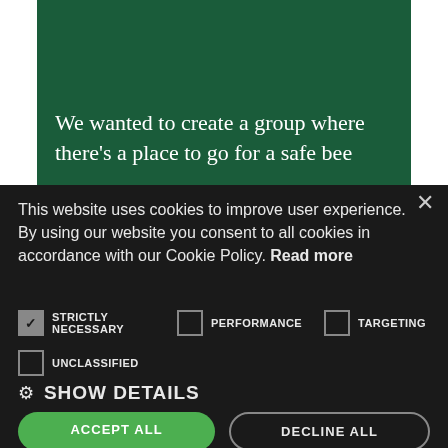[Figure (screenshot): Dark green background image banner area]
We wanted to create a group where there’s a place to go for a safe bee
This website uses cookies to improve user experience. By using our website you consent to all cookies in accordance with our Cookie Policy. Read more
✓ STRICTLY NECESSARY   □ PERFORMANCE   □ TARGETING
□ UNCLASSIFIED
⚙ SHOW DETAILS
ACCEPT ALL   DECLINE ALL